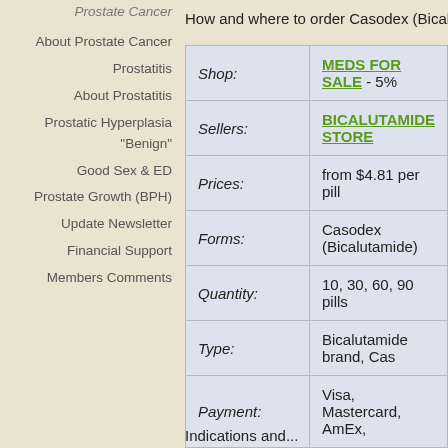Prostate Cancer
About Prostate Cancer
Prostatitis
About Prostatitis
Prostatic Hyperplasia "Benign"
Good Sex & ED
Prostate Growth (BPH)
Update Newsletter
Financial Support
Members Comments
How and where to order Casodex (Bicalutamide...
| Label | Value |
| --- | --- |
| Shop: | MEDS FOR SALE - 5%... |
| Sellers: | BICALUTAMIDE STORE... |
| Prices: | from $4.81 per pill |
| Forms: | Casodex (Bicalutamide)... |
| Quantity: | 10, 30, 60, 90 pills |
| Type: | Bicalutamide brand, Cas... |
| Payment: | Visa, Mastercard, AmEx,... |
| Delivery: | Regular airmail and expr... |
| Shipping: | Worldwide, including US... |
Indications and...